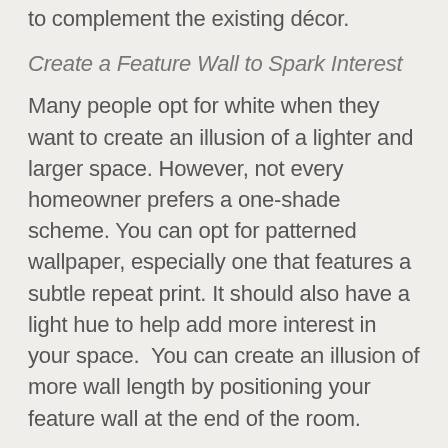to complement the existing décor.
Create a Feature Wall to Spark Interest
Many people opt for white when they want to create an illusion of a lighter and larger space. However, not every homeowner prefers a one-shade scheme. You can opt for patterned wallpaper, especially one that features a subtle repeat print. It should also have a light hue to help add more interest in your space.  You can create an illusion of more wall length by positioning your feature wall at the end of the room.
Maximize on Natural Light